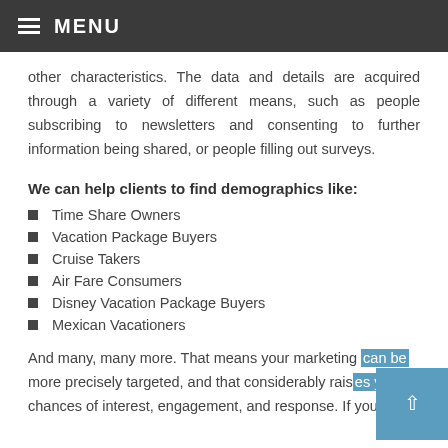≡ MENU
other characteristics. The data and details are acquired through a variety of different means, such as people subscribing to newsletters and consenting to further information being shared, or people filling out surveys.
We can help clients to find demographics like:
Time Share Owners
Vacation Package Buyers
Cruise Takers
Air Fare Consumers
Disney Vacation Package Buyers
Mexican Vacationers
And many, many more. That means your marketing can be more precisely targeted, and that considerably raises your chances of interest, engagement, and response. If you'd